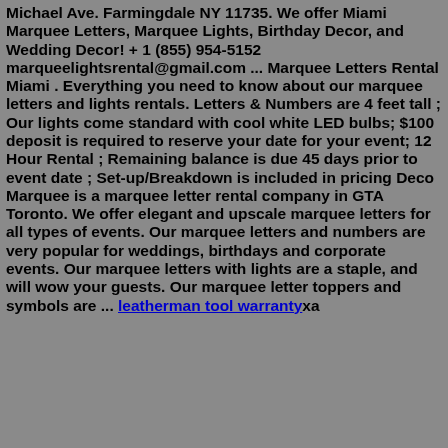Michael Ave. Farmingdale NY 11735. We offer Miami Marquee Letters, Marquee Lights, Birthday Decor, and Wedding Decor! + 1 (855) 954-5152 marqueelightsrental@gmail.com ... Marquee Letters Rental Miami . Everything you need to know about our marquee letters and lights rentals. Letters & Numbers are 4 feet tall ; Our lights come standard with cool white LED bulbs; $100 deposit is required to reserve your date for your event; 12 Hour Rental ; Remaining balance is due 45 days prior to event date ; Set-up/Breakdown is included in pricing Deco Marquee is a marquee letter rental company in GTA Toronto. We offer elegant and upscale marquee letters for all types of events. Our marquee letters and numbers are very popular for weddings, birthdays and corporate events. Our marquee letters with lights are a staple, and will wow your guests. Our marquee letter toppers and symbols are ... leatherman tool warrantyxa